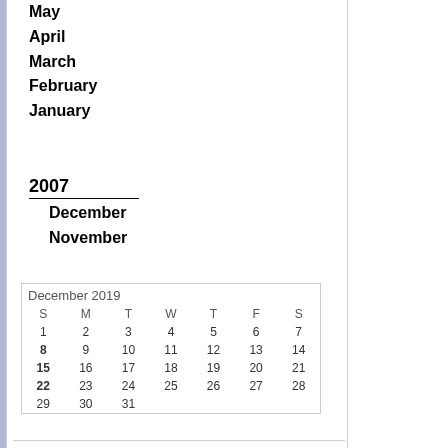May
April
March
February
January
2007
December
November
| S | M | T | W | T | F | S |
| --- | --- | --- | --- | --- | --- | --- |
| 1 | 2 | 3 | 4 | 5 | 6 | 7 |
| 8 | 9 | 10 | 11 | 12 | 13 | 14 |
| 15 | 16 | 17 | 18 | 19 | 20 | 21 |
| 22 | 23 | 24 | 25 | 26 | 27 | 28 |
| 29 | 30 | 31 |  |  |  |  |
Search
Syndication
[Figure (logo): RSS 2.0 badge — orange 'RSS' label and grey '2.0' on dark background]